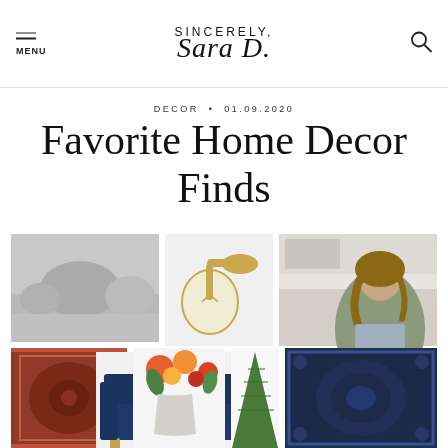SINCERELY, Sara D. | MENU | Search
DECOR • 01.09.2020
Favorite Home Decor Finds
[Figure (photo): Collage of home decor items including landscape wallpaper mural, navy tufted sofa, gold wall sconce lamp, woman decorating a cake in kitchen, pink/red Persian-style rug, flowers vase arrangement, green cypress tree, and navy blue patterned rug]